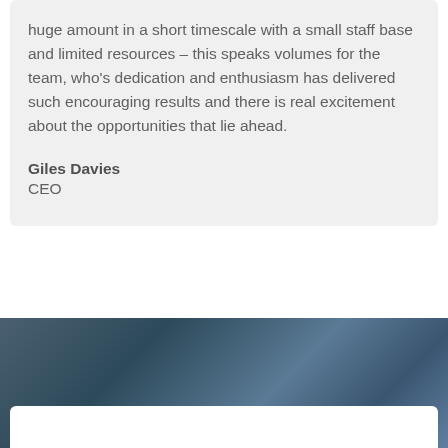huge amount in a short timescale with a small staff base and limited resources – this speaks volumes for the team, who's dedication and enthusiasm has delivered such encouraging results and there is real excitement about the opportunities that lie ahead.
Giles Davies
CEO
[Figure (photo): Blurred dark blue background photo, partial white card visible at bottom]